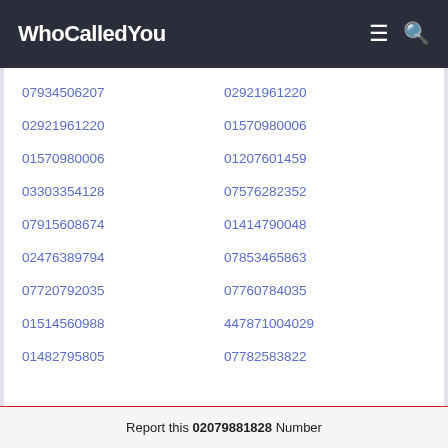WhoCalledYou
07934506207
02921961220
02921961220
01570980006
01570980006
01207601459
03303354128
07576282352
07915608674
01414790048
02476389794
07853465863
07720792035
07760784035
01514560988
447871004029
01482795805
07782583822
Report this 02079881828 Number